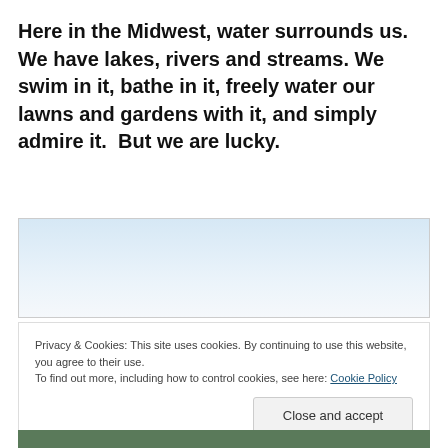Here in the Midwest, water surrounds us.  We have lakes, rivers and streams. We swim in it, bathe in it, freely water our lawns and gardens with it, and simply admire it.  But we are lucky.
[Figure (photo): Outdoor water/lake scene — sky portion visible, light blue and white gradient sky over calm water]
Privacy & Cookies: This site uses cookies. By continuing to use this website, you agree to their use.
To find out more, including how to control cookies, see here: Cookie Policy
Close and accept
[Figure (photo): Bottom portion of outdoor photo, partially visible]